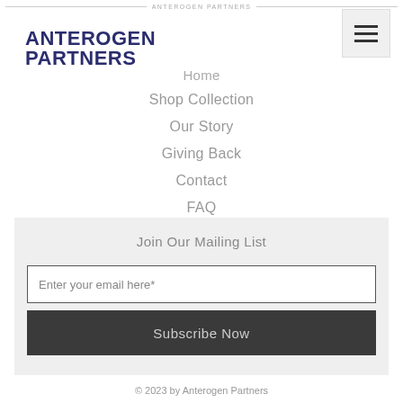ANTEROGEN PARTNERS
ANTEROGEN PARTNERS
[Figure (other): Hamburger menu icon button with three horizontal lines]
Home
Shop Collection
Our Story
Giving Back
Contact
FAQ
Join Our Mailing List
Enter your email here*
Subscribe Now
© 2023 by Anterogen Partners